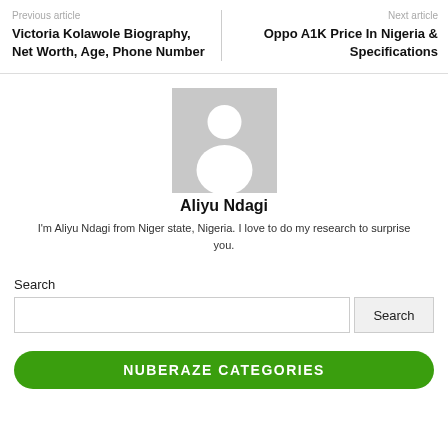Previous article
Victoria Kolawole Biography, Net Worth, Age, Phone Number
Next article
Oppo A1K Price In Nigeria & Specifications
[Figure (illustration): Generic avatar placeholder image with gray background and white silhouette of a person]
Aliyu Ndagi
I'm Aliyu Ndagi from Niger state, Nigeria. I love to do my research to surprise you.
Search
NUBERAZE CATEGORIES